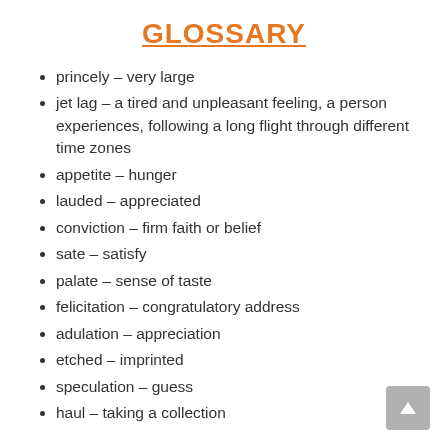GLOSSARY
princely – very large
jet lag – a tired and unpleasant feeling, a person experiences, following a long flight through different time zones
appetite – hunger
lauded – appreciated
conviction – firm faith or belief
sate – satisfy
palate – sense of taste
felicitation – congratulatory address
adulation – appreciation
etched – imprinted
speculation – guess
haul – taking a collection